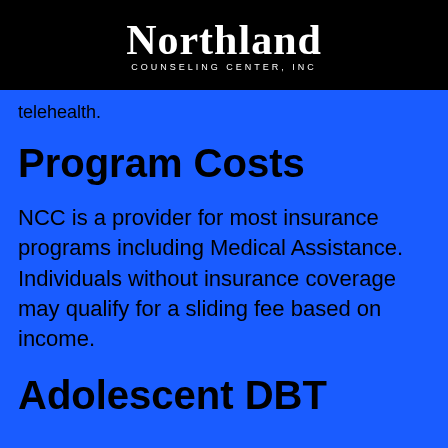[Figure (logo): Northland Counseling Center, Inc. logo — white script text on black background]
telehealth.
Program Costs
NCC is a provider for most insurance programs including Medical Assistance. Individuals without insurance coverage may qualify for a sliding fee based on income.
Adolescent DBT